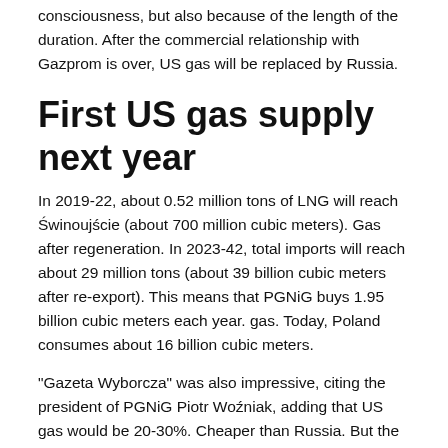consciousness, but also because of the length of the duration. After the commercial relationship with Gazprom is over, US gas will be replaced by Russia.
First US gas supply next year
In 2019-22, about 0.52 million tons of LNG will reach Świnoujście (about 700 million cubic meters). Gas after regeneration. In 2023-42, total imports will reach about 29 million tons (about 39 billion cubic meters after re-export). This means that PGNiG buys 1.95 billion cubic meters each year. gas. Today, Poland consumes about 16 billion cubic meters.
"Gazeta Wyborcza" was also impressive, citing the president of PGNiG Piotr Woźniak, adding that US gas would be 20-30%. Cheaper than Russia. But the problem is that we do not know how much PGNiG is paying for Russian gas today and how much to pay for US gas. It is the secret of the contract. In addition, certain amounts are not entered into the contract, but rather a formula for calculating the pricing formula, ie the current delivery price. In the end, Americans